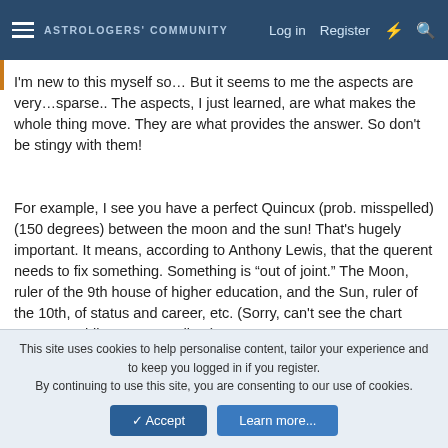ASTROLOGERS' COMMUNITY  Log in  Register
I'm new to this myself so… But it seems to me the aspects are very…sparse.. The aspects, I just learned, are what makes the whole thing move. They are what provides the answer. So don't be stingy with them!
For example, I see you have a perfect Quincux (prob. misspelled) (150 degrees) between the moon and the sun! That's hugely important. It means, according to Anthony Lewis, that the querent needs to fix something. Something is "out of joint." The Moon, ruler of the 9th house of higher education, and the Sun, ruler of the 10th, of status and career, etc. (Sorry, can't see the chart anymore while I'm responding.)
Anyway, allow more aspects!
This site uses cookies to help personalise content, tailor your experience and to keep you logged in if you register.
By continuing to use this site, you are consenting to our use of cookies.